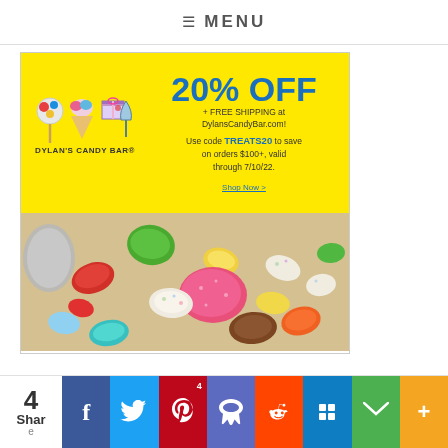≡ MENU
[Figure (infographic): Dylan's Candy Bar advertisement. Yellow background with logo showing candy icons (lollipop, ice cream cone, gift box, cocktail glass) above text 'DYLAN'S CANDY BAR'. Right side shows '20% OFF + FREE SHIPPING at DylansCandyBar.com! Use code TREATS20 to save on orders $100+, valid through 7/10/22.' with 'Shop Now >' link. Below is a photo of colorful mixed candy/jelly beans.]
[Figure (infographic): Social sharing bar at the bottom. Shows number '4' with 'Share' label on left, followed by social media buttons: Facebook (blue), Twitter (light blue), Pinterest (red, with count '4'), Yummly (indigo), Reddit (orange-red), Mix (blue), Email (green), More (orange).]